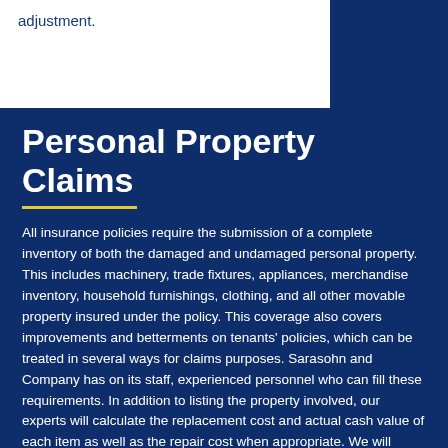adjustment.
Personal Property Claims
All insurance policies require the submission of a complete inventory of both the damaged and undamaged personal property. This includes machinery, trade fixtures, appliances, merchandise inventory, household furnishings, clothing, and all other movable property insured under the policy. This coverage also covers improvements and betterments on tenants' policies, which can be treated in several ways for claims purposes. Sarasohn and Company has on its staff, experienced personnel who can fill these requirements. In addition to listing the property involved, our experts will calculate the replacement cost and actual cash value of each item as well as the repair cost when appropriate. We will determine salvage value, if any, and help arrange for protection of the property from further damage, as